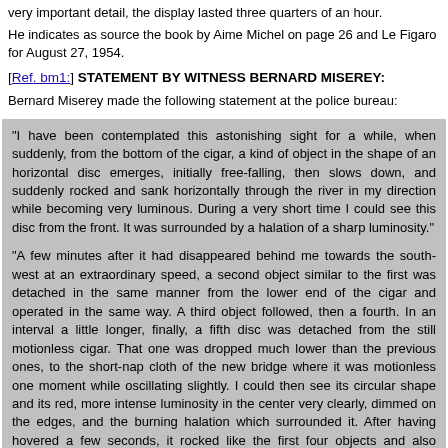very important detail, the display lasted three quarters of an hour.
He indicates as source the book by Aime Michel on page 26 and Le Figaro for August 27, 1954.
[Ref. bm1:] STATEMENT BY WITNESS BERNARD MISEREY:
Bernard Miserey made the following statement at the police bureau:
"I have been contemplated this astonishing sight for a while, when suddenly, from the bottom of the cigar, a kind of object in the shape of an horizontal disc emerges, initially free-falling, then slows down, and suddenly rocked and sank horizontally through the river in my direction while becoming very luminous. During a very short time I could see this disc from the front. It was surrounded by a halation of a sharp luminosity."
"A few minutes after it had disappeared behind me towards the south-west at an extraordinary speed, a second object similar to the first was detached in the same manner from the lower end of the cigar and operated in the same way. A third object followed, then a fourth. In an interval a little longer, finally, a fifth disc was detached from the still motionless cigar. That one was dropped much lower than the previous ones, to the short-nap cloth of the new bridge where it was motionless one moment while oscillating slightly. I could then see its circular shape and its red, more intense luminosity in the center very clearly, dimmed on the edges, and the burning halation which surrounded it. After having hovered a few seconds, it rocked like the first four objects and also started to dart like an arrow, but towards the North, where it lost itself in the distance while gaining height."
"During this time, the luminosity of the cigar had disappeared, and the gigantic object, which was perhaps a hundred meters long, had melted itself in the darkness. The display had lasted three quarters of an hour